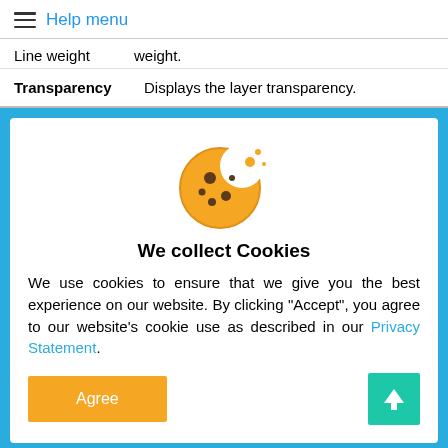Help menu
Line weight    weight.
Transparency   Displays the layer transparency.
[Figure (illustration): Cookie consent dialog with cookie emoji icon, title 'We collect Cookies', body text about cookie use, an orange Agree button, and a teal scroll-to-top button]
We collect Cookies
We use cookies to ensure that we give you the best experience on our website. By clicking "Accept", you agree to our website's cookie use as described in our Privacy Statement.